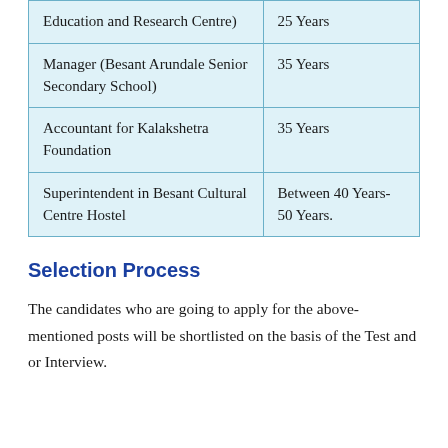| Education and Research Centre) | 25 Years |
| Manager (Besant Arundale Senior Secondary School) | 35 Years |
| Accountant for Kalakshetra Foundation | 35 Years |
| Superintendent in Besant Cultural Centre Hostel | Between 40 Years- 50 Years. |
Selection Process
The candidates who are going to apply for the above-mentioned posts will be shortlisted on the basis of the Test and or Interview.